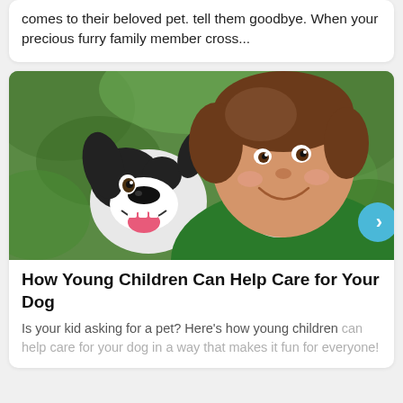comes to their beloved pet. tell them goodbye. When your precious furry family member cross...
[Figure (photo): A smiling young boy with brown hair wearing a green shirt, cheek-to-cheek with a happy black and white dog with its mouth open, outdoors with a green blurred background. A blue circular next/arrow button is visible at the bottom right of the image.]
How Young Children Can Help Care for Your Dog
Is your kid asking for a pet? Here's how young children can help care for your dog in a way that makes it fun for everyone!